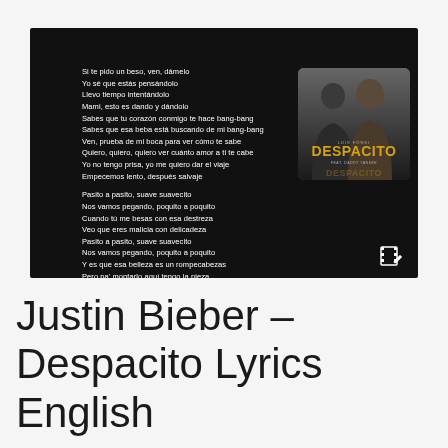[Figure (photo): Black background image with white song lyrics text on the left and a 'Despacito' album cover on the right showing two men, with a film/edit icon in the bottom right corner.]
Justin Bieber – Despacito Lyrics English